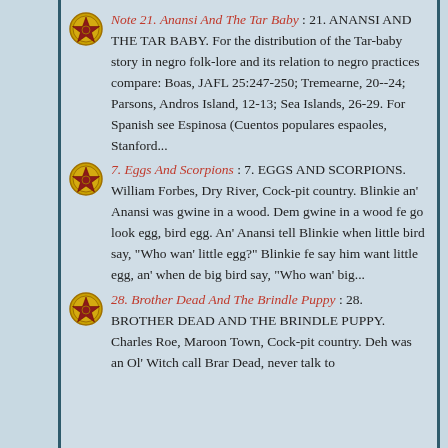Note 21. Anansi And The Tar Baby : 21. ANANSI AND THE TAR BABY. For the distribution of the Tar-baby story in negro folk-lore and its relation to negro practices compare: Boas, JAFL 25:247-250; Tremearne, 20--24; Parsons, Andros Island, 12-13; Sea Islands, 26-29. For Spanish see Espinosa (Cuentos populares espaoles, Stanford...
7. Eggs And Scorpions : 7. EGGS AND SCORPIONS. William Forbes, Dry River, Cock-pit country. Blinkie an' Anansi was gwine in a wood. Dem gwine in a wood fe go look egg, bird egg. An' Anansi tell Blinkie when little bird say, "Who wan' little egg?" Blinkie fe say him want little egg, an' when de big bird say, "Who wan' big...
28. Brother Dead And The Brindle Puppy : 28. BROTHER DEAD AND THE BRINDLE PUPPY. Charles Roe, Maroon Town, Cock-pit country. Deh was an Ol' Witch call Brar Dead, never talk to